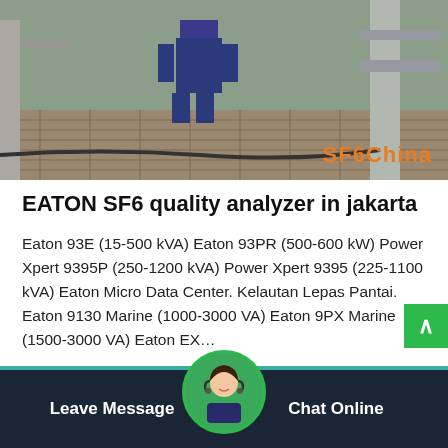[Figure (photo): Worker in blue uniform on industrial/offshore platform with pipes and equipment, with SF6China watermark in orange]
EATON SF6 quality analyzer in jakarta
Eaton 93E (15-500 kVA) Eaton 93PR (500-600 kW) Power Xpert 9395P (250-1200 kVA) Power Xpert 9395 (225-1100 kVA) Eaton Micro Data Center. Kelautan Lepas Pantai. Eaton 9130 Marine (1000-3000 VA) Eaton 9PX Marine (1500-3000 VA) Eaton EX…
Get Price
Leave Message   Chat Online